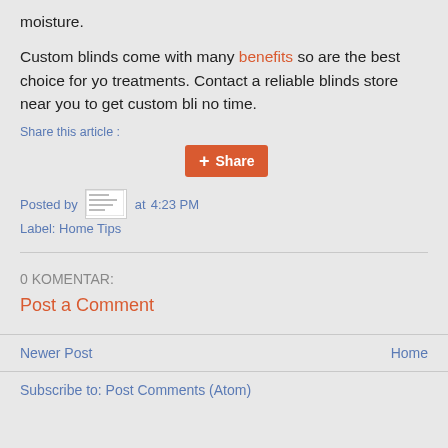moisture.
Custom blinds come with many benefits so are the best choice for your window treatments. Contact a reliable blinds store near you to get custom bli... no time.
Share this article :
Share
Posted by [avatar] at 4:23 PM
Label: Home Tips
0 KOMENTAR:
Post a Comment
Newer Post
Home
Subscribe to: Post Comments (Atom)